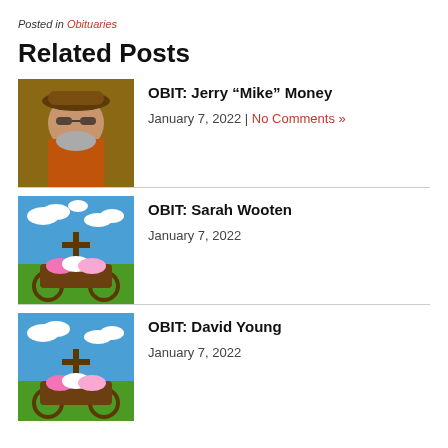Posted in Obituaries
Related Posts
[Figure (photo): Portrait photo of a bearded man wearing a hat and sunglasses outdoors]
OBIT: Jerry “Mike” Money
January 7, 2022 | No Comments »
[Figure (photo): Decorative flower cart with a cross and pink and white flowers on green grass under blue sky with clouds]
OBIT: Sarah Wooten
January 7, 2022
[Figure (photo): Decorative flower cart with a cross and pink and white flowers on green grass under blue sky with clouds]
OBIT: David Young
January 7, 2022